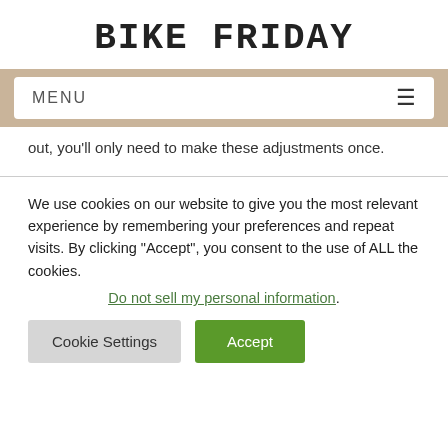BIKE FRIDAY
MENU
out, you'll only need to make these adjustments once.
We use cookies on our website to give you the most relevant experience by remembering your preferences and repeat visits. By clicking "Accept", you consent to the use of ALL the cookies. Do not sell my personal information.
Cookie Settings  Accept